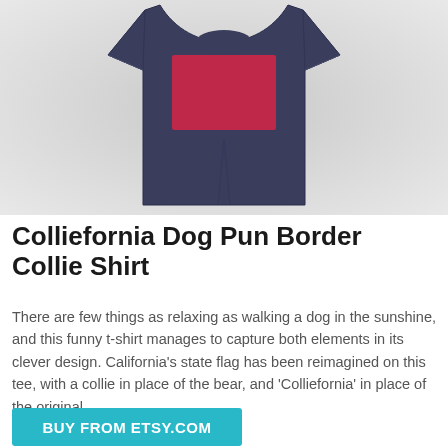[Figure (photo): A navy blue tank top / t-shirt with a red rectangular graphic on the chest, laid flat against a light grey background. The shirt appears to have a California state flag-inspired design in crimson/red on the front.]
Colliefornia Dog Pun Border Collie Shirt
There are few things as relaxing as walking a dog in the sunshine, and this funny t-shirt manages to capture both elements in its clever design. California's state flag has been reimagined on this tee, with a collie in place of the bear, and 'Colliefornia' in place of the original.
BUY FROM ETSY.COM